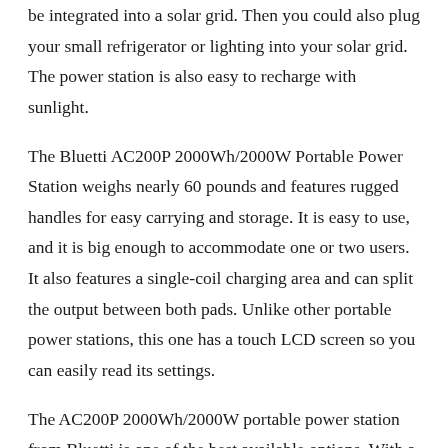be integrated into a solar grid. Then you could also plug your small refrigerator or lighting into your solar grid. The power station is also easy to recharge with sunlight.
The Bluetti AC200P 2000Wh/2000W Portable Power Station weighs nearly 60 pounds and features rugged handles for easy carrying and storage. It is easy to use, and it is big enough to accommodate one or two users. It also features a single-coil charging area and can split the output between both pads. Unlike other portable power stations, this one has a touch LCD screen so you can easily read its settings.
The AC200P 2000Wh/2000W portable power station from Bluetti is one of the best available options. With a capacity of 2000W, the Bluetti AC200P pushes the boundaries of